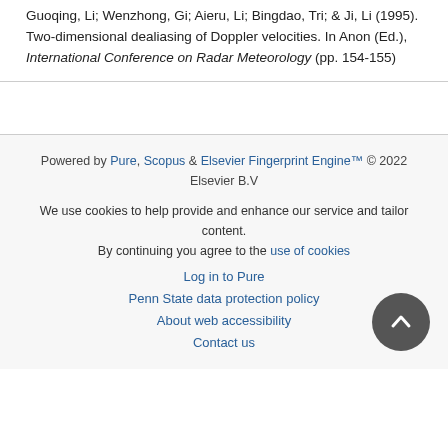Guoqing, Li; Wenzhong, Gi; Aieru, Li; Bingdao, Tri; & Ji, Li (1995). Two-dimensional dealiasing of Doppler velocities. In Anon (Ed.), International Conference on Radar Meteorology (pp. 154-155)
Powered by Pure, Scopus & Elsevier Fingerprint Engine™ © 2022 Elsevier B.V
We use cookies to help provide and enhance our service and tailor content. By continuing you agree to the use of cookies
Log in to Pure
Penn State data protection policy
About web accessibility
Contact us